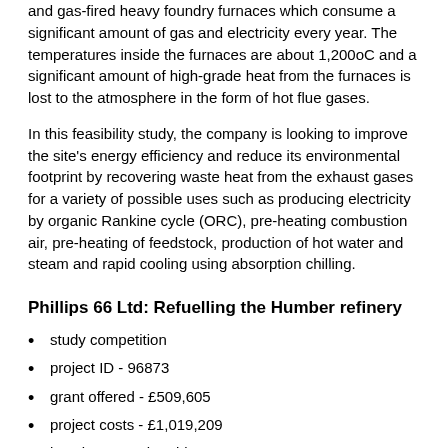and gas-fired heavy foundry furnaces which consume a significant amount of gas and electricity every year. The temperatures inside the furnaces are about 1,200oC and a significant amount of high-grade heat from the furnaces is lost to the atmosphere in the form of hot flue gases.
In this feasibility study, the company is looking to improve the site's energy efficiency and reduce its environmental footprint by recovering waste heat from the exhaust gases for a variety of possible uses such as producing electricity by organic Rankine cycle (ORC), pre-heating combustion air, pre-heating of feedstock, production of hot water and steam and rapid cooling using absorption chilling.
Phillips 66 Ltd: Refuelling the Humber refinery
study competition
project ID - 96873
grant offered - £509,605
project costs - £1,019,209
location - Humberside